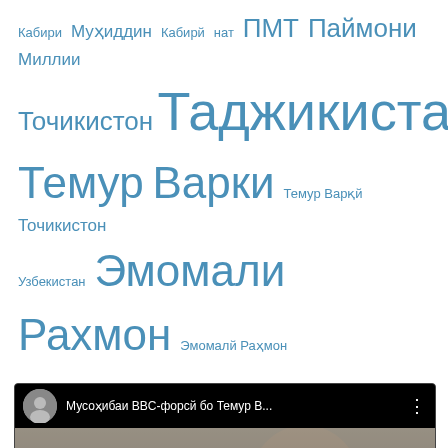[Figure (other): Word cloud with Tajik/Russian tags in blue, various font sizes: Кабири, Муҳиддин, Кабирй, нат, ПМТ, Паймони, Миллии, Точикистон, Таджикистан, Темур, Варки, Темур Варқй, Точикистон, Узбекистан, Эмомали, РАХМОН, Эмомалй Раҳмон]
[Figure (screenshot): YouTube video player showing a man with glasses and gray beard. Title: Мусоҳибаи BBC-форсй бо Темур В... Duration: 05:34, current time: 00:00. Red YouTube play button overlay in center.]